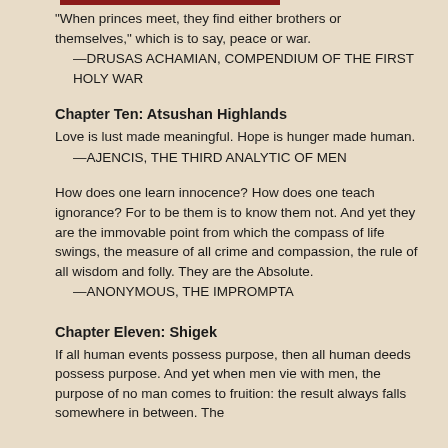“When princes meet, they find either brothers or themselves,” which is to say, peace or war.
    —DRUSAS ACHAMIAN, COMPENDIUM OF THE FIRST HOLY WAR
Chapter Ten: Atsushan Highlands
Love is lust made meaningful.  Hope is hunger made human.
    —AJENCIS, THE THIRD ANALYTIC OF MEN
How does one learn innocence?  How does one teach ignorance?  For to be them is to know them not.  And yet they are the immovable point from which the compass of life swings, the measure of all crime and compassion, the rule of all wisdom and folly.  They are the Absolute.
    —ANONYMOUS, THE IMPROMPTA
Chapter Eleven: Shigek
If all human events possess purpose, then all human deeds possess purpose.  And yet when men vie with men, the purpose of no man comes to fruition: the result always falls somewhere in between.  The